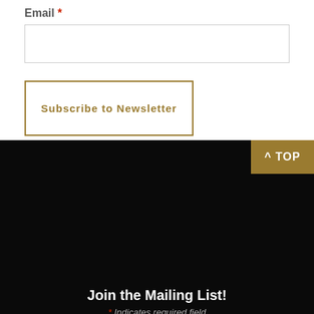Email *
Subscribe to Newsletter
^ TOP
Join the Mailing List!
* Indicates required field
Email *
Subscribe to Newsletter
[Figure (other): Social media icons: Twitter, Email, Instagram, Facebook]